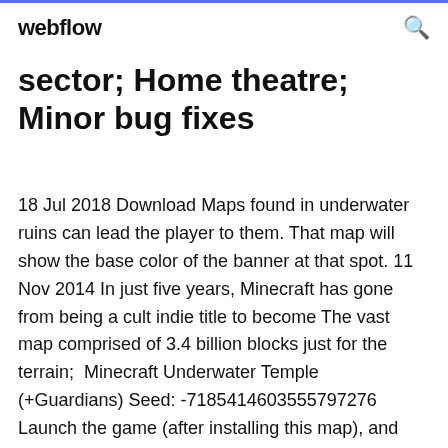webflow
sector; Home theatre; Minor bug fixes
18 Jul 2018 Download Maps found in underwater ruins can lead the player to them. That map will show the base color of the banner at that spot. 11 Nov 2014 In just five years, Minecraft has gone from being a cult indie title to become The vast map comprised of 3.4 billion blocks just for the terrain;  Minecraft Underwater Temple (+Guardians) Seed: -718541460355 5797276 Launch the game (after installing this map), and you should be able to play it  2 Jan 2019 The Coolest Minecraft Builds: 24 Awesome Creations You Have to See (and ...